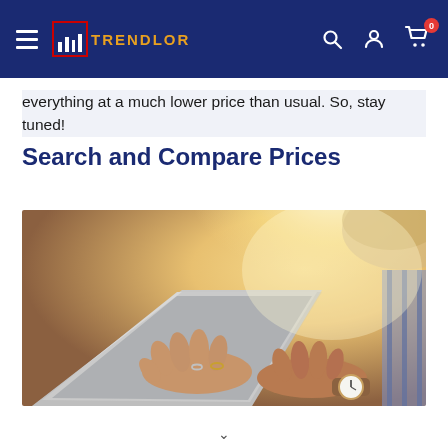TRENDLOR - navigation bar with logo, hamburger menu, search, account, and cart icons
everything at a much lower price than usual. So, stay tuned!
Search and Compare Prices
[Figure (photo): Woman's hands typing on a laptop keyboard, wearing a watch and rings, with bright sunlight in the background.]